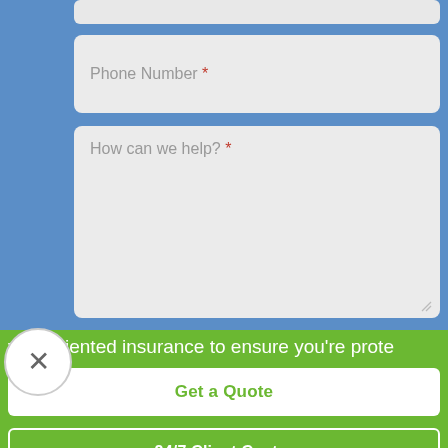[Figure (screenshot): Insurance website contact form screenshot showing Phone Number field, How can we help textarea, Submit button, close circle button, green banner with partial text 'vice-oriented insurance to ensure you're prote', Get a Quote button, and 24/7 Client Center button]
Phone Number *
How can we help? *
Submit
vice-oriented insurance to ensure you're prote
Get a Quote
24/7 Client Center